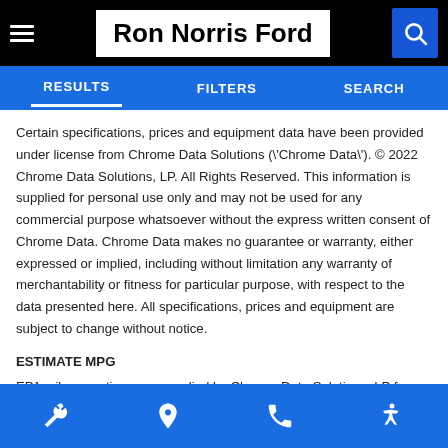Ron Norris Ford
RESULTS   FILTERS   SEARCH
Certain specifications, prices and equipment data have been provided under license from Chrome Data Solutions (\'Chrome Data\'). © 2022 Chrome Data Solutions, LP. All Rights Reserved. This information is supplied for personal use only and may not be used for any commercial purpose whatsoever without the express written consent of Chrome Data. Chrome Data makes no guarantee or warranty, either expressed or implied, including without limitation any warranty of merchantability or fitness for particular purpose, with respect to the data presented here. All specifications, prices and equipment are subject to change without notice.
ESTIMATE MPG
EPA mileage ratings are supplied by Chrome Data Solutions, LP for comparison purposes only. Your actual mileage will vary depending on
icons: wrench, location pin, phone, accessibility